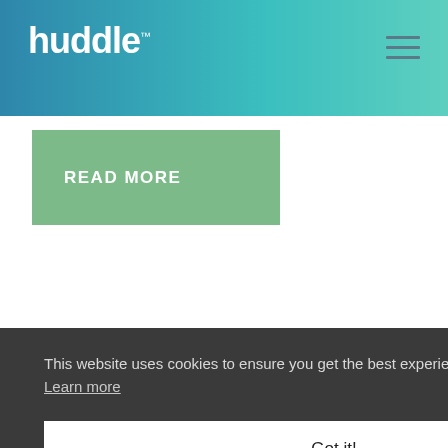[Figure (logo): Huddle company logo in white text on teal/blue gradient header bar]
READ MORE
FEATURES
Workspaces
Document Sharing
This website uses cookies to ensure you get the best experience on our website. Learn more
Got it!